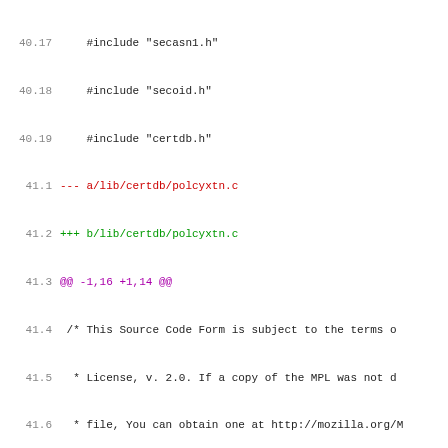[Figure (screenshot): Diff/patch view of source code changes showing line numbers and colored diff output for C source files including polcyxtn.c and certhtml.c]